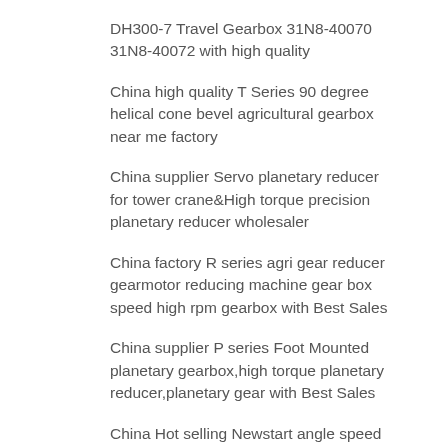DH300-7 Travel Gearbox 31N8-40070 31N8-40072 with high quality
China high quality T Series 90 degree helical cone bevel agricultural gearbox near me factory
China supplier Servo planetary reducer for tower crane&High torque precision planetary reducer wholesaler
China factory R series agri gear reducer gearmotor reducing machine gear box speed high rpm gearbox with Best Sales
China supplier P series Foot Mounted planetary gearbox,high torque planetary reducer,planetary gear with Best Sales
China Hot selling Newstart angle speed servo motor reduction planetary gearbox reducers for feed mixer near me manufacturer
China Best Sales lifting gearbox worm gear lift screw